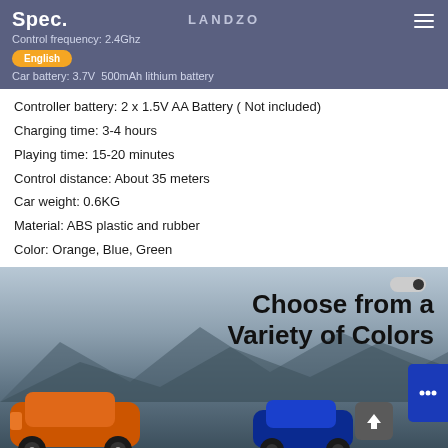LANDZO
Spec.
Control frequency: 2.4Ghz
Car battery: 3.7V  500mAh lithium battery
Controller battery: 2 x 1.5V AA Battery ( Not included)
Charging time: 3-4 hours
Playing time: 15-20 minutes
Control distance: About 35 meters
Car weight: 0.6KG
Material: ABS plastic and rubber
Color: Orange, Blue, Green
[Figure (photo): RC cars in orange and blue colors against a mountain backdrop with text 'Choose from a Variety of Colors']